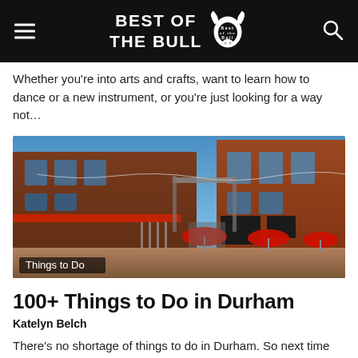BEST OF THE BULL
Whether you're into arts and crafts, want to learn how to dance or a new instrument, or you're just looking for a way not...
[Figure (photo): Street-level view of a red brick mixed-use district with red awnings, string lights, outdoor dining umbrellas, and a blue sky. Label overlay reads 'Things to Do'.]
100+ Things to Do in Durham
Katelyn Belch
There's no shortage of things to do in Durham. So next time you're racking your brain for a fun or free adventure, consult this list. We've got you covered, Bull City!